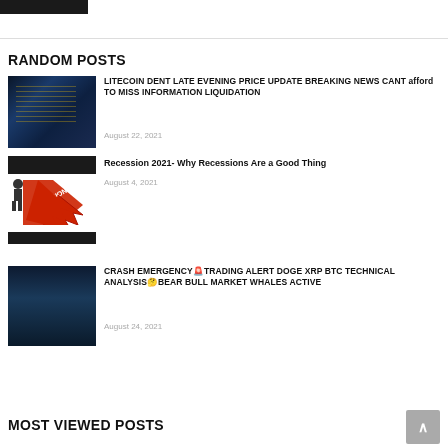[Figure (screenshot): Dark trading chart thumbnail with candlestick/line data]
LITECOIN DENT LATE EVENING PRICE UPDATE BREAKING NEWS CANT afford TO MISS INFORMATION LIQUIDATION
August 22, 2021
[Figure (illustration): Recession illustration with red downward arrow and person silhouette]
Recession 2021- Why Recessions Are a Good Thing
August 4, 2021
[Figure (screenshot): Dark trading chart thumbnail]
CRASH EMERGENCY🚨TRADING ALERT DOGE XRP BTC TECHNICAL ANALYSIS🤔BEAR BULL MARKET WHALES ACTIVE
August 24, 2021
RANDOM POSTS
MOST VIEWED POSTS